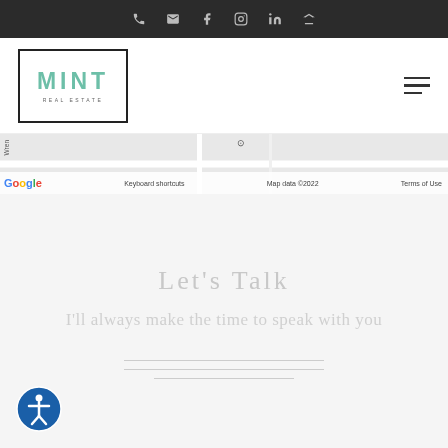Social media and contact icons bar
[Figure (logo): MINT REAL ESTATE logo with square border, teal/green letters]
[Figure (map): Google Maps street map strip showing Wren street, with Google logo, Keyboard shortcuts, Map data ©2022, Terms of Use]
Let's Talk
I'll always make the time to speak with you
[Figure (other): Accessibility icon button, blue circle with person figure]